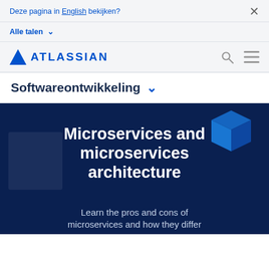Deze pagina in English bekijken? ×
Alle talen ∨
ATLASSIAN
Softwareontwikkeling ∨
Microservices and microservices architecture
Learn the pros and cons of microservices and how they differ